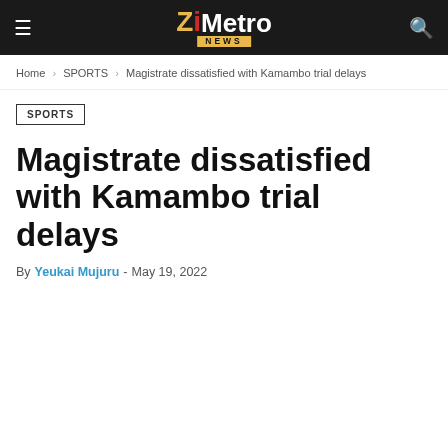ZiMetro NEWS
Home › SPORTS › Magistrate dissatisfied with Kamambo trial delays
SPORTS
Magistrate dissatisfied with Kamambo trial delays
By Yeukai Mujuru - May 19, 2022